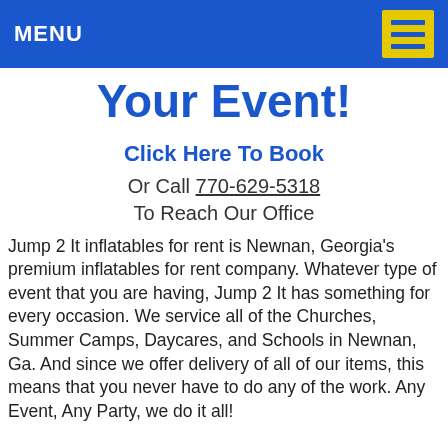MENU
Your Event!
Click Here To Book
Or Call 770-629-5318
To Reach Our Office
Jump 2 It inflatables for rent is Newnan, Georgia's premium inflatables for rent company. Whatever type of event that you are having, Jump 2 It has something for every occasion. We service all of the Churches, Summer Camps, Daycares, and Schools in Newnan, Ga. And since we offer delivery of all of our items, this means that you never have to do any of the work. Any Event, Any Party, we do it all!